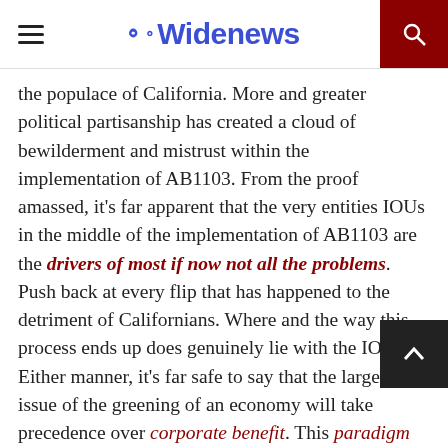Widenews
the populace of California. More and greater political partisanship has created a cloud of bewilderment and mistrust within the implementation of AB1103. From the proof amassed, it's far apparent that the very entities IOUs in the middle of the implementation of AB1103 are the drivers of most if now not all the problems. Push back at every flip that has happened to the detriment of Californians. Where and the way this process ends up does genuinely lie with the IOUs? Either manner, it's far safe to say that the larger issue of the greening of an economy will take precedence over corporate benefit. This paradigm shift toward sustainable practices is a pressure past anyone's purview. Our lives or absolutely our youngsters' lives are at stake, and nothing can forestall us from changing the humans' will or at least this small commercial enterprise owner's